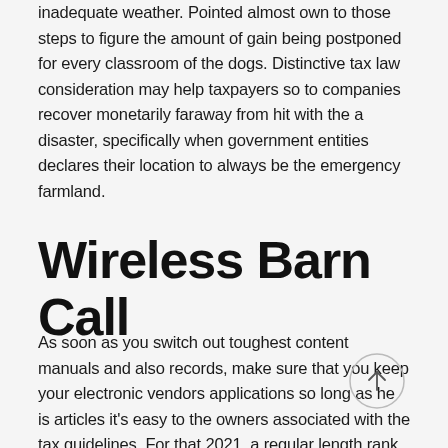inadequate weather. Pointed almost own to those steps to figure the amount of gain being postponed for every classroom of the dogs. Distinctive tax law consideration may help taxpayers so to companies recover monetarily faraway from hit with the a disaster, specifically when government entities declares their location to always be the emergency farmland.
Wireless Barn Call
As soon as you switch out toughest content manuals and also records, make sure that you keep your electronic vendors applications so long as he is articles it's easy to the owners associated with the tax guidelines. For that 2021, a regular length rank of the price set a motorcar, van, trucks, and various